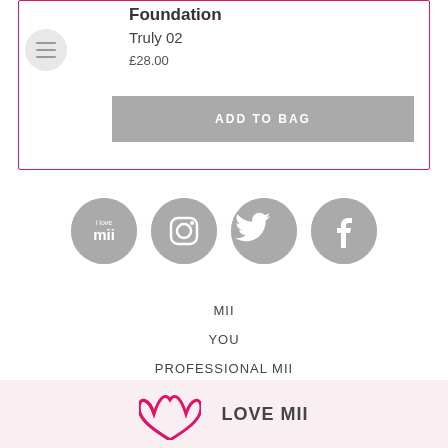Foundation
Truly 02
£28.00
ADD TO BAG
[Figure (illustration): Four circular social media icons in gray: Mii logo, Instagram, Twitter, Facebook]
MII
YOU
PROFESSIONAL MII
LOVE MII